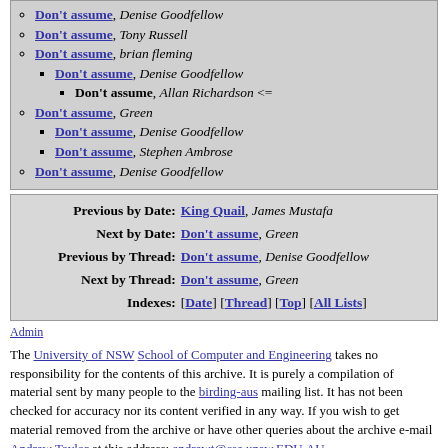Don't assume, Denise Goodfellow
Don't assume, Tony Russell
Don't assume, brian fleming
Don't assume, Denise Goodfellow
Don't assume, Allan Richardson <=
Don't assume, Green
Don't assume, Denise Goodfellow
Don't assume, Stephen Ambrose
Don't assume, Denise Goodfellow
| Previous by Date: | King Quail, James Mustafa |
| Next by Date: | Don't assume, Green |
| Previous by Thread: | Don't assume, Denise Goodfellow |
| Next by Thread: | Don't assume, Green |
| Indexes: | [Date] [Thread] [Top] [All Lists] |
Admin
The University of NSW School of Computer and Engineering takes no responsibility for the contents of this archive. It is purely a compilation of material sent by many people to the birding-aus mailing list. It has not been checked for accuracy nor its content verified in any way. If you wish to get material removed from the archive or have other queries about the archive e-mail Andrew Taylor at this address: andrewt@cse.unsw.EDU.AU